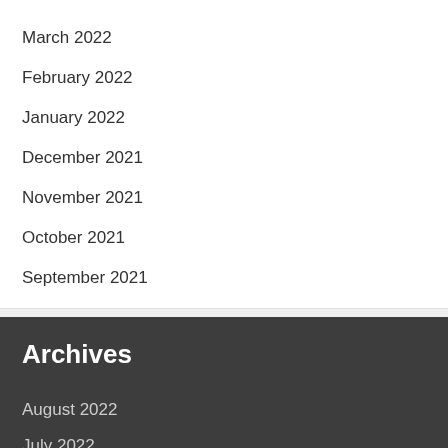March 2022
February 2022
January 2022
December 2021
November 2021
October 2021
September 2021
Archives
August 2022
July 2022